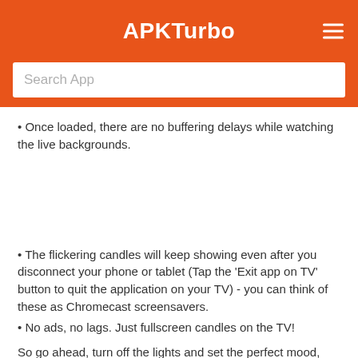APKTurbo
Search App
• Once loaded, there are no buffering delays while watching the live backgrounds.
• The flickering candles will keep showing even after you disconnect your phone or tablet (Tap the 'Exit app on TV' button to quit the application on your TV) - you can think of these as Chromecast screensavers.
• No ads, no lags. Just fullscreen candles on the TV!
So go ahead, turn off the lights and set the perfect mood, with romantic candles flickering on your TV! :-)